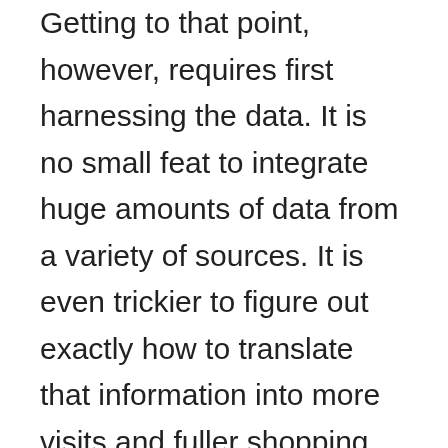Getting to that point, however, requires first harnessing the data. It is no small feat to integrate huge amounts of data from a variety of sources. It is even trickier to figure out exactly how to translate that information into more visits and fuller shopping carts—in real time, customer by customer.
The good news is, there are technologies and tools that make it much easier to find the gold hidden in the data—and use it to refine your online marketing with laser precision. But there's a mind-set at work